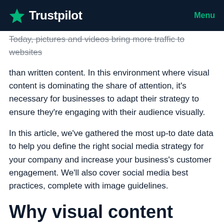Trustpilot | Menu
Today, pictures and videos bring more traffic to websites than written content. In this environment where visual content is dominating the share of attention, it's necessary for businesses to adapt their strategy to ensure they're engaging with their audience visually.
In this article, we've gathered the most up-to date data to help you define the right social media strategy for your company and increase your business's customer engagement. We'll also cover social media best practices, complete with image guidelines.
Why visual content marketing is taking over